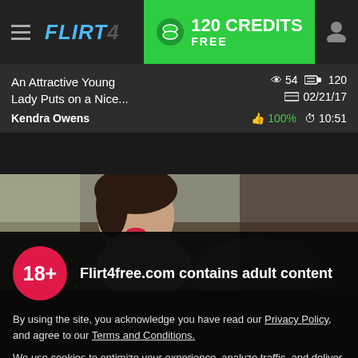FLIRT4FREE — 120 CREDITS FREE
An Attractive Young Lady Puts on a Nice... Kendra Owens | 👁 54 💳 120 | 📅 02/21/17 | 👍 100% ⏱ 10:51
[Figure (photo): Thumbnail photo of a young woman lying down, semi-nude, with dark hair and red lips, against a dark background.]
18+ Flirt4free.com contains adult content

By using the site, you acknowledge you have read our Privacy Policy, and agree to our Terms and Conditions.

We use cookies to optimize your experience, analyze traffic, and deliver more personalized service. To learn more, please see our Privacy Policy.
I AGREE
y Close  👁 18  📅 03/1...